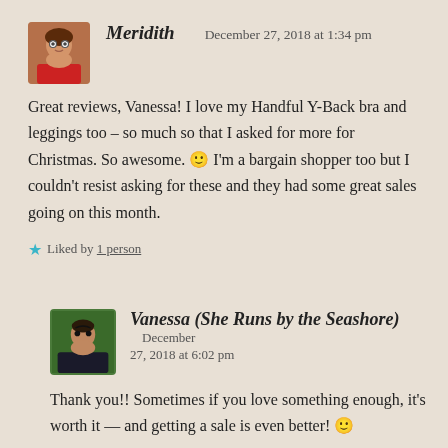Meridith   December 27, 2018 at 1:34 pm
Great reviews, Vanessa! I love my Handful Y-Back bra and leggings too – so much so that I asked for more for Christmas. So awesome. 🙂 I'm a bargain shopper too but I couldn't resist asking for these and they had some great sales going on this month.
★ Liked by 1 person
Vanessa (She Runs by the Seashore)   December 27, 2018 at 6:02 pm
Thank you!! Sometimes if you love something enough, it's worth it — and getting a sale is even better! 🙂